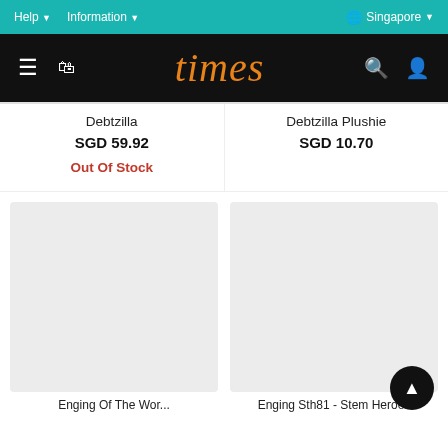Help ▾  Information ▾  🌐 Singapore ▾
[Figure (logo): Times bookstore logo in orange cursive script on black navigation bar with hamburger menu, bag icon, search icon, and user icon]
Debtzilla
SGD 59.92
Out Of Stock
Debtzilla Plushie
SGD 10.70
[Figure (photo): Product image placeholder (light grey) for first bottom product]
[Figure (photo): Product image placeholder (light grey) for second bottom product]
Enging Of The Wor...
Enging Sth81 - Stem Heroes